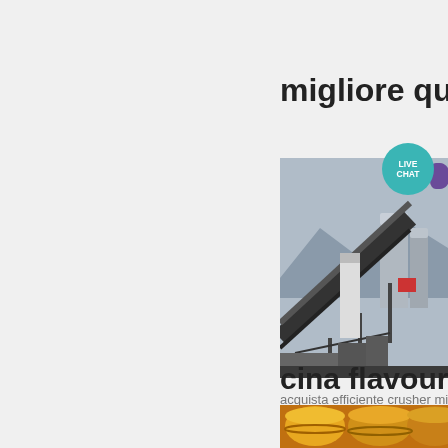migliore qualità cr
[Figure (photo): Industrial crusher mill machinery at a mining or quarry site, with conveyor belts, silos and structural framework visible. A 'LIVE CHAT' teal circular badge overlaps the top-right of the image, with a purple oval partially behind it.]
acquista efficiente crusher mill ai
Get Price →
cina flavourings fi
[Figure (photo): Image showing yellow/orange industrial drums or barrels, partially cut off at bottom of page.]